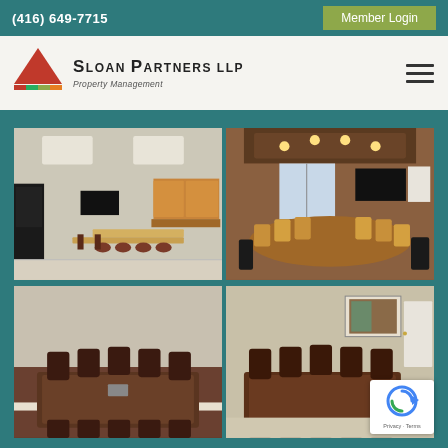(416) 649-7715
Member Login
[Figure (logo): Sloan Partners LLP Property Management logo with red pyramid icon and colorful bar]
[Figure (photo): Grid of four conference and breakroom photos showing office amenities including a breakroom with vending machines and tables, a formal boardroom with yellow chairs around an oval table, and two conference rooms with dark leather chairs]
[Figure (other): Google reCAPTCHA badge with privacy and terms links]